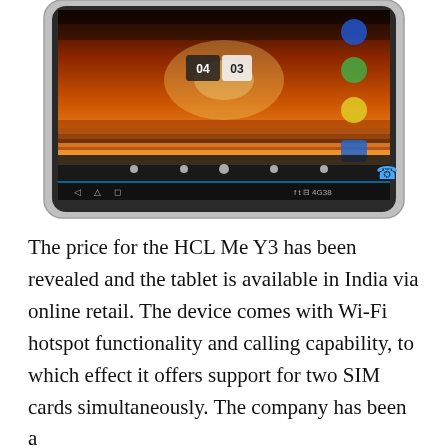[Figure (photo): A tablet device (HCL Me Y3) showing its home screen with a sunset/landscape wallpaper, clock showing 04:03, app icons on the right side, and a navigation bar at the bottom.]
The price for the HCL Me Y3 has been revealed and the tablet is available in India via online retail. The device comes with Wi-Fi hotspot functionality and calling capability, to which effect it offers support for two SIM cards simultaneously. The company has been a